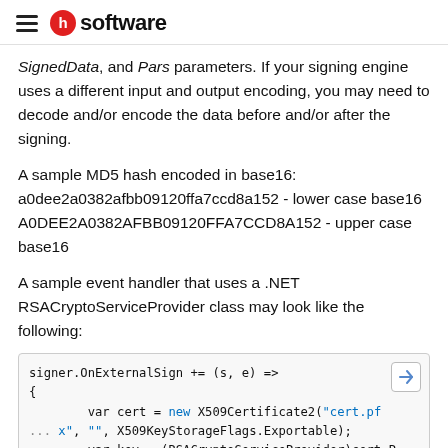software
SignedData, and Pars parameters. If your signing engine uses a different input and output encoding, you may need to decode and/or encode the data before and/or after the signing.
A sample MD5 hash encoded in base16:
a0dee2a0382afbb09120ffa7ccd8a152 - lower case base16
A0DEE2A0382AFBB09120FFA7CCD8A152 - upper case base16
A sample event handler that uses a .NET RSACryptoServiceProvider class may look like the following:
[Figure (screenshot): Code block showing C# event handler using RSACryptoServiceProvider. Code: signer.OnExternalSign += (s, e) => { var cert = new X509Certificate2("cert.pf...x", "", X509KeyStorageFlags.Exportable); var key = (RSACryptoServiceProvider)cert.P...rivateKey; var dataToSign = e.Data.FromBase16String...(); }]